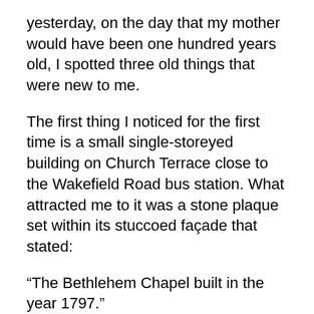yesterday, on the day that my mother would have been one hundred years old, I spotted three old things that were new to me.
The first thing I noticed for the first time is a small single-storeyed building on Church Terrace close to the Wakefield Road bus station. What attracted me to it was a stone plaque set within its stuccoed façade that stated:
“The Bethlehem Chapel built in the year 1797.”
It is still in regular use. I picked up an information leaflet from a plastic container next to its locked door, and this provided me with some information about the place, whose façade looks original but has otherwise been substantially updated.  The interior of this non-Conformist place of worship appears to be similar to what it was when it was first built but considerably restored and modernised